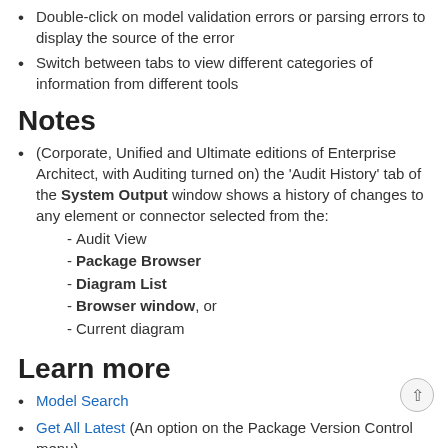Double-click on model validation errors or parsing errors to display the source of the error
Switch between tabs to view different categories of information from different tools
Notes
(Corporate, Unified and Ultimate editions of Enterprise Architect, with Auditing turned on) the 'Audit History' tab of the System Output window shows a history of changes to any element or connector selected from the:
- Audit View
- Package Browser
- Diagram List
- Browser window, or
- Current diagram
Learn more
Model Search
Get All Latest (An option on the Package Version Control menu)
Add-Ins
Audit History
Auditing